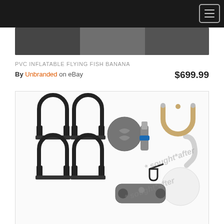Navigation header bar with hamburger menu
[Figure (photo): Dark banner image strip at the top of the page showing partial product imagery]
PVC INFLATABLE FLYING FISH BANANA
By Unbranded on eBay   $699.99
[Figure (photo): Product parts laid out on white background: four D-ring shackle clips in two rows, a grey circular valve cap, a grey pistol grip pump nozzle with blue ring, a gold U-shaped tow hook connector, a grey safety pin clip, a grey elongated bracket/handle piece, a white circular patch, a clear curved tube, and a small grey circular piece. Watermark text reading '* sought*after' overlaid diagonally.]